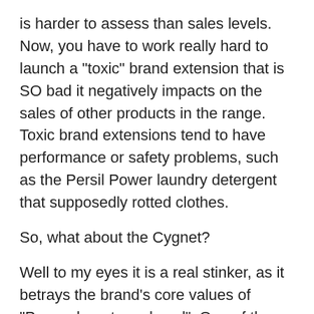is harder to assess than sales levels. Now, you have to work really hard to launch a "toxic" brand extension that is SO bad it negatively impacts on the sales of other products in the range. Toxic brand extensions tend to have performance or safety problems, such as the Persil Power laundry detergent that supposedly rotted clothes.
So, what about the Cygnet?
Well to my eyes it is a real stinker, as it betrays the brand's core values of "Power, beauty and soul". One of the many critical comments on a car website summed it up well: "It's a f***ing disgrace! The only idiots that I can see buying one is people who already own an Aston & want a runabout for their wife/kids.. What's next? Ferrari vans?"
Aston Martin makes high performance sports cars. So an Aston small city car would need to a high performance car for the city. Note: Toyota iQ...